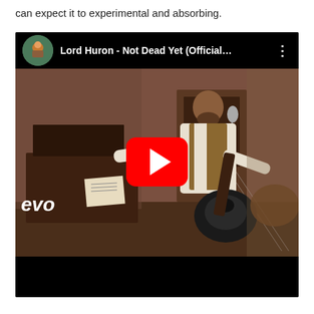can expect it to experimental and absorbing.
[Figure (screenshot): Embedded YouTube video thumbnail showing Lord Huron - Not Dead Yet (Official...) with a play button overlay. A musician in a white shirt and vest playing guitar with arms outstretched in a vintage-styled room. 'evo' watermark visible in bottom left. YouTube top bar shows channel icon, video title, and three-dot menu.]